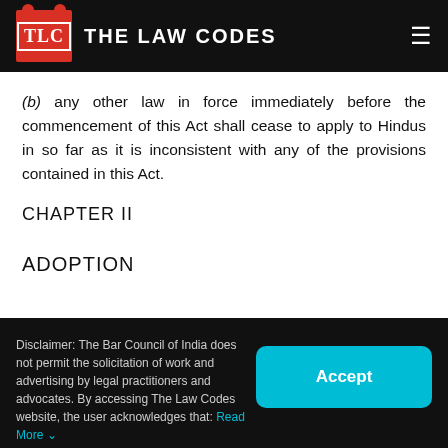THE LAW CODES
(b) any other law in force immediately before the commencement of this Act shall cease to apply to Hindus in so far as it is inconsistent with any of the provisions contained in this Act.
CHAPTER II
ADOPTION
Disclaimer: The Bar Council of India does not permit the solicitation of work and advertising by legal practitioners and advocates. By accessing The Law Codes website, the user acknowledges that: Read More